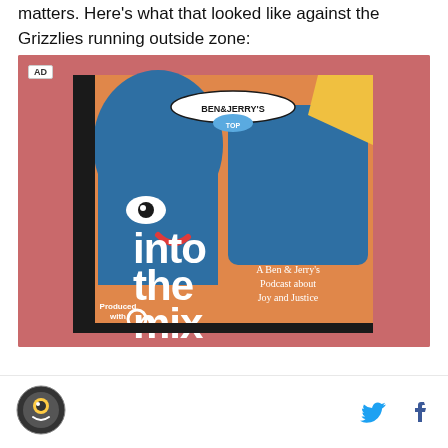matters. Here's what that looked like against the Grizzlies running outside zone:
[Figure (photo): Ben & Jerry's 'Into the Mix' podcast advertisement — illustrated cover art showing stylized figures in blue and orange tones with large white text reading 'into the mix' and subtitle 'A Ben & Jerry's Podcast about Joy and Justice'. Pink/rose background. 'AD' label in top left. 'Produced with VOXCREATIVE' text in lower left.]
[Figure (logo): Circular site logo/avatar in bottom left footer area]